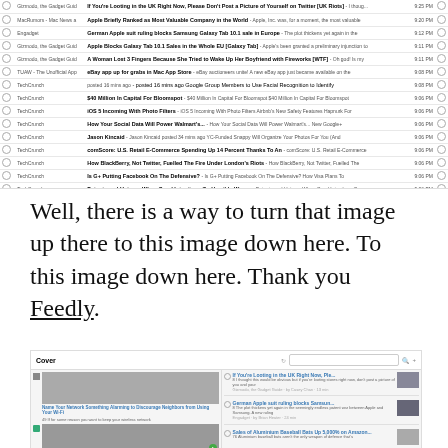[Figure (screenshot): Email/RSS feed list screenshot showing multiple items from sources like Gizmodo, MacRumors, Engadget, TechCrunch with bold headlines and timestamps around 9:05-9:25 PM]
Well, there is a way to turn that image up there to this image down here. To this image down here. Thank you Feedly.
[Figure (screenshot): Feedly app screenshot showing Cover view with articles including Wi-Fi network, free coffee iPhone card, and UK Riots articles with thumbnails]